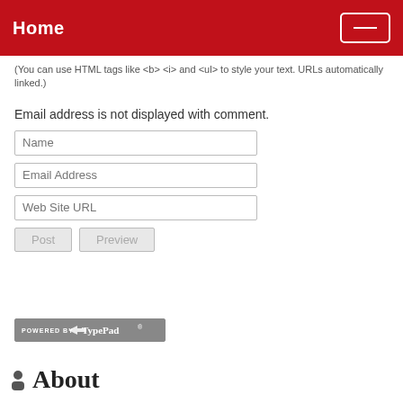Home
(You can use HTML tags like <b> <i> and <ul> to style your text. URLs automatically linked.)
Email address is not displayed with comment.
[Figure (screenshot): Web form with three input fields: Name, Email Address, Web Site URL, and two buttons: Post and Preview]
[Figure (logo): Powered by TypePad badge/logo in grey]
About